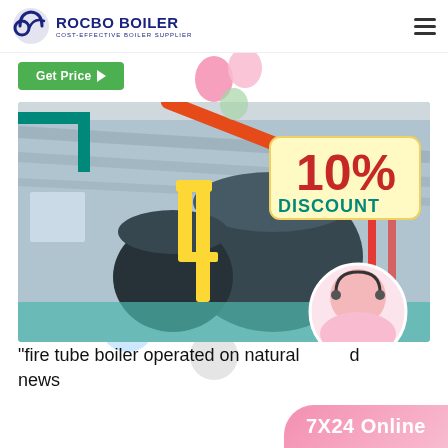ROCBO BOILER - COST-EFFECTIVE BOILER SUPPLIER
[Figure (screenshot): Rocbo Boiler website screenshot showing a navigation bar with logo, a Get Price button, decorative balloons, a main boiler facility photograph with a 10% Discount badge, a customer service representative avatar circle, and a 7X24 Online button at the bottom.]
"fire tube boiler operated on natural ... news
7X24 Online